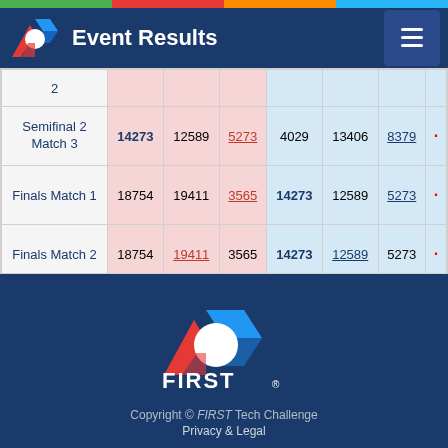Event Results
| Match | Red1 | Red2 | Red3 | Blue1 | Blue2 | Blue3 |
| --- | --- | --- | --- | --- | --- | --- |
| Semifinal 2 Match 2 |  |  |  |  |  |  |
| Semifinal 2 Match 3 | 14273 | 12589 | 5273 | 4029 | 13406 | 8379 |
| Finals Match 1 | 18754 | 19411 | 3565 | 14273 | 12589 | 5273 |
| Finals Match 2 | 18754 | 19411 | 3565 | 14273 | 12589 | 5273 |
[Figure (logo): FIRST Tech Challenge logo in footer]
Copyright © FIRST Tech Challenge
Privacy & Legal